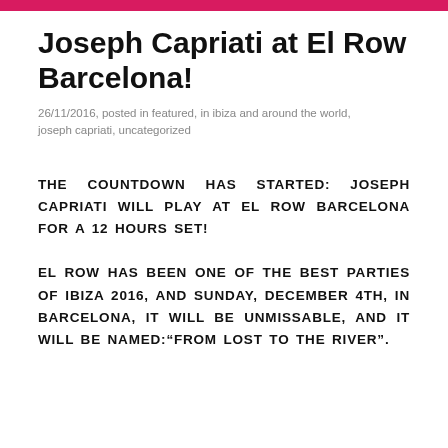Joseph Capriati at El Row Barcelona!
26/11/2016, posted in featured, in ibiza and around the world, joseph capriati, uncategorized
THE COUNTDOWN HAS STARTED: JOSEPH CAPRIATI WILL PLAY AT EL ROW BARCELONA FOR A 12 HOURS SET!
EL ROW HAS BEEN ONE OF THE BEST PARTIES OF IBIZA 2016, AND SUNDAY, DECEMBER 4TH, IN BARCELONA, IT WILL BE UNMISSABLE, AND IT WILL BE NAMED:“FROM LOST TO THE RIVER”.